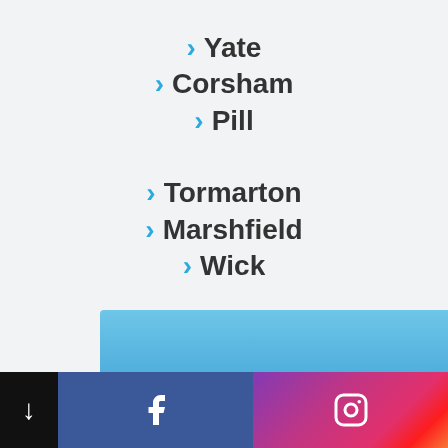> Yate
> Corsham
> Pill
> Tormarton
> Marshfield
> Wick
[Figure (other): Blue gradient banner/image area at the bottom of the page]
Social media footer bar with Facebook and Instagram icons